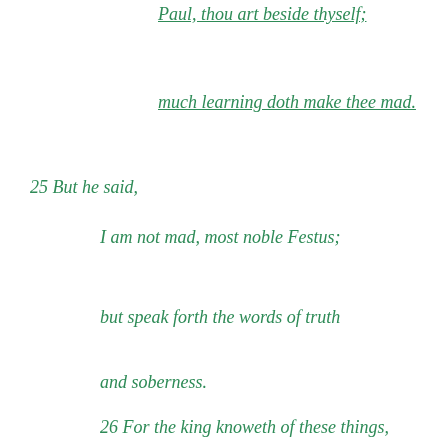Paul, thou art beside thyself;
much learning doth make thee mad.
25 But he said,
I am not mad, most noble Festus;
but speak forth the words of truth
and soberness.
26 For the king knoweth of these things,